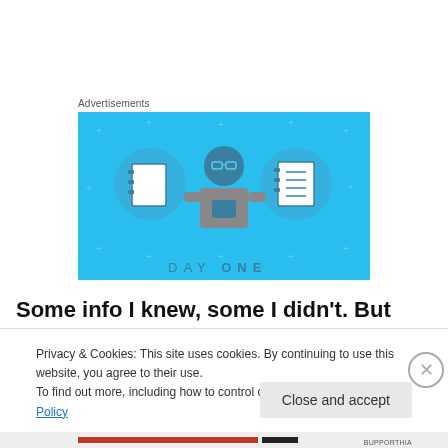Advertisements
[Figure (illustration): Day One app advertisement banner with light blue background, showing a person holding a phone flanked by two circular icons of notebooks, with 'DAY ONE' text at the bottom.]
Some info I knew, some I didn't. But none of it surprised me. Because along with being a terrific writer, he is
Privacy & Cookies: This site uses cookies. By continuing to use this website, you agree to their use.
To find out more, including how to control cookies, see here: Cookie Policy
Close and accept